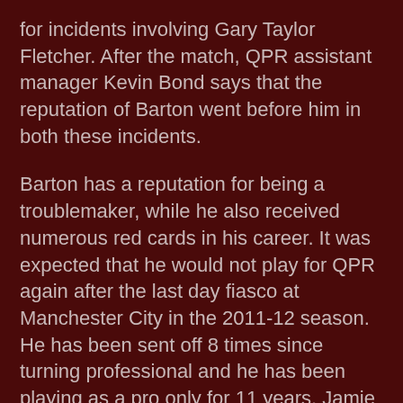for incidents involving Gary Taylor Fletcher. After the match, QPR assistant manager Kevin Bond says that the reputation of Barton went before him in both these incidents.
Barton has a reputation for being a troublemaker, while he also received numerous red cards in his career. It was expected that he would not play for QPR again after the last day fiasco at Manchester City in the 2011-12 season. He has been sent off 8 times since turning professional and he has been playing as a pro only for 11 years. Jamie Vardy scored the only goal of the game in the 41st minute to go level on points with QPR, who also remain one point behind Burnley.
QPR have had just two victories in the last five matches. “Joey had already had conversations with the ref. His reputation doesn’t do him any favours. In his position, he can’t afford to put himself up for anything,” said Bond after the match. “Joey’s